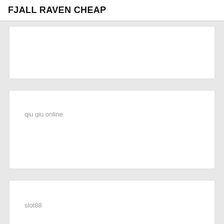FJALL RAVEN CHEAP
qiu qiu online
slot88
slot online